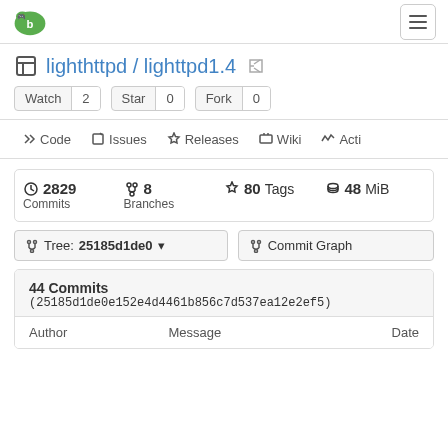lighthttpd / lighttpd1.4
lighthttpd / lighttpd1.4
Watch 2  Star 0  Fork 0
<> Code  Issues  Releases  Wiki  Acti
2829 Commits  8 Branches  80 Tags  48 MiB
Tree: 25185d1de0  Commit Graph
44 Commits (25185d1de0e152e4d4461b856c7d537ea12e2ef5)
| Author | Message | Date |
| --- | --- | --- |